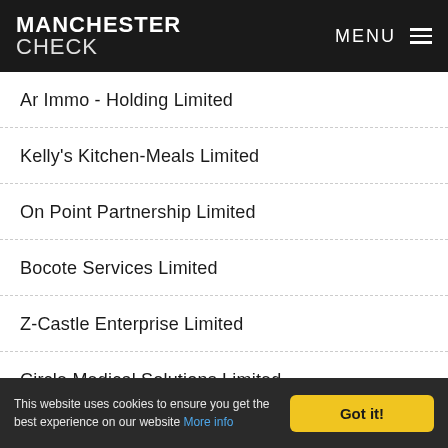MANCHESTER CHECK  MENU
Ar Immo - Holding Limited
Kelly's Kitchen-Meals Limited
On Point Partnership Limited
Bocote Services Limited
Z-Castle Enterprise Limited
Circle Medical Solutions Limited
This website uses cookies to ensure you get the best experience on our website More info  Got it!